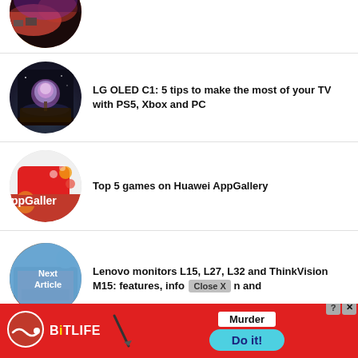[Figure (photo): Circular thumbnail image with reddish/purple tones, partially visible at top of page]
LG OLED C1: 5 tips to make the most of your TV with PS5, Xbox and PC
[Figure (photo): Circular thumbnail showing a glowing purple tree on a dark LG OLED display]
Top 5 games on Huawei AppGallery
[Figure (photo): Circular thumbnail showing Huawei AppGallery logo with red background and games icons]
Lenovo monitors L15, L27, L32 and ThinkVision M15: features, info and
[Figure (photo): Circular thumbnail for Lenovo monitors article, partially visible]
[Figure (screenshot): BitLife advertisement overlay at bottom with murder scenario and Do it button. Next Article overlay and Close X button visible.]